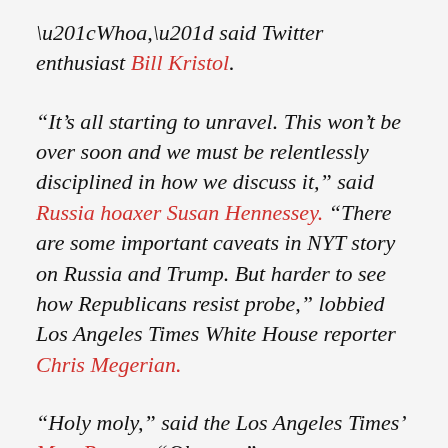“Whoa,” said Twitter enthusiast Bill Kristol.
“It’s all starting to unravel. This won’t be over soon and we must be relentlessly disciplined in how we discuss it,” said Russia hoaxer Susan Hennessey. “There are some important caveats in NYT story on Russia and Trump. But harder to see how Republicans resist probe,” lobbied Los Angeles Times White House reporter Chris Megerian.
“Holy moly,” said the Los Angeles Times’ Matt Pearce. “Oh wow,” wrote